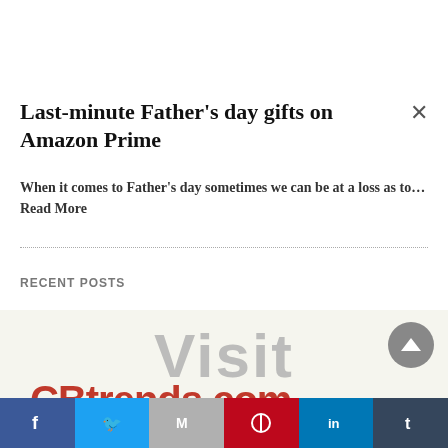Last-minute Father's day gifts on Amazon Prime
When it comes to Father's day sometimes we can be at a loss as to… Read More
RECENT POSTS
[Figure (screenshot): Visit CBtrends.com promotional image with large grey Visit text and red CBtrends.com brand text below, with a grey circle scroll-to-top button on the right]
[Figure (infographic): Social sharing bar with Facebook, Twitter, Gmail, Pinterest, LinkedIn, and Tumblr buttons]